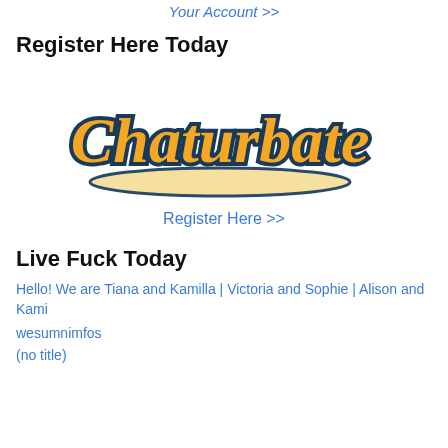Your Account >>
Register Here Today
[Figure (logo): Chaturbate logo in orange script lettering with teal/dark outline and a cream/tan underline swoosh]
Register Here >>
Live Fuck Today
Hello! We are Tiana and Kamilla | Victoria and Sophie | Alison and Kami
wesumnimfos
(no title)